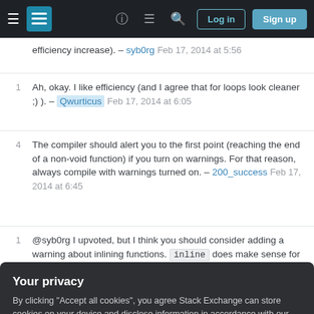Stack Exchange navigation bar with Log in and Sign up buttons
efficiency increase). – syb0rg Feb 17, 2014 at 5:56
1 Ah, okay. I like efficiency (and I agree that for loops look cleaner ;) ). – Qwurticus Feb 17, 2014 at 6:05
4 The compiler should alert you to the first point (reaching the end of a non-void function) if you turn on warnings. For that reason, always compile with warnings turned on. – 200_success Feb 17, 2014 at 6:45
1 @syb0rg I upvoted, but I think you should consider adding a warning about inlining functions. inline does make sense for this example, but you have to be
Your privacy
By clicking "Accept all cookies", you agree Stack Exchange can store cookies on your device and disclose information in accordance with our Cookie Policy.
Accept all cookies   Customize settings
the accepted one by Brendan. I would like to add